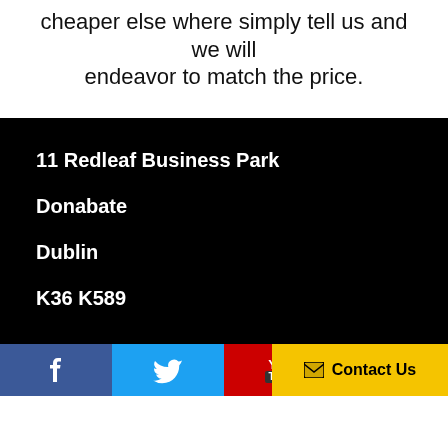cheaper else where simply tell us and we will endeavor to match the price.
11 Redleaf Business Park
Donabate
Dublin
K36 K589
[Figure (infographic): Social media bar with Facebook (dark blue), Twitter (light blue), YouTube (red), Instagram (pink/red) icons, and a yellow Contact Us button]